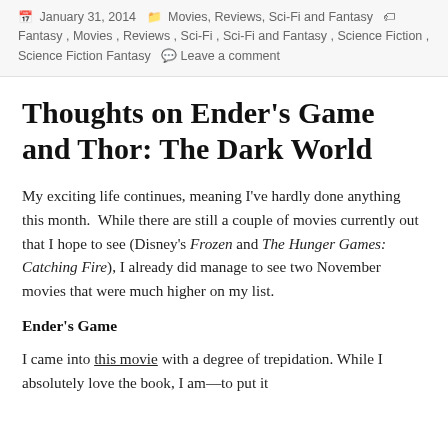January 31, 2014  Movies, Reviews, Sci-Fi and Fantasy  Fantasy , Movies , Reviews , Sci-Fi , Sci-Fi and Fantasy , Science Fiction , Science Fiction Fantasy  Leave a comment
Thoughts on Ender's Game and Thor: The Dark World
My exciting life continues, meaning I've hardly done anything this month.  While there are still a couple of movies currently out that I hope to see (Disney's Frozen and The Hunger Games: Catching Fire), I already did manage to see two November movies that were much higher on my list.
Ender's Game
I came into this movie with a degree of trepidation. While I absolutely love the book, I am—to put it